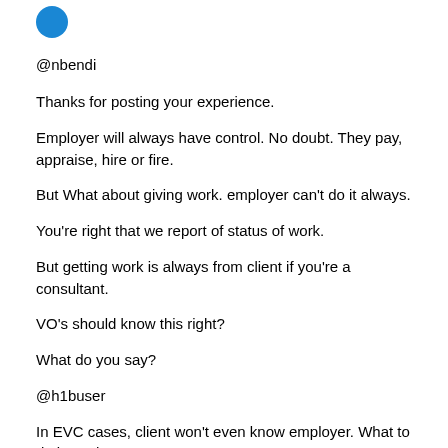[Figure (other): Blue circular avatar icon in top left]
@nbendi
Thanks for posting your experience.
Employer will always have control. No doubt. They pay, appraise, hire or fire.
But What about giving work. employer can't do it always.
You're right that we report of status of work.
But getting work is always from client if you're a consultant.
VO's should know this right?
What do you say?
@h1buser
In EVC cases, client won't even know employer. What to do in such cases?
How you get work from your employer? Any ideas how we can manage this?